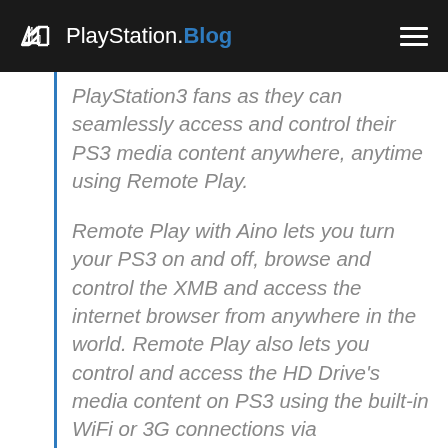PlayStation.Blog
PlayStation3 fans as they can seamlessly access and control their PS3 media content anywhere, anytime using Remote Play.
Remote Play with Aino lets you turn your PS3 on and off, browse and control the XMB and access the internet browser from anywhere in the world. Remote Play also lets you control and access the HD Drive's media content on PS3 using the built-in WiFi or 3G connections via